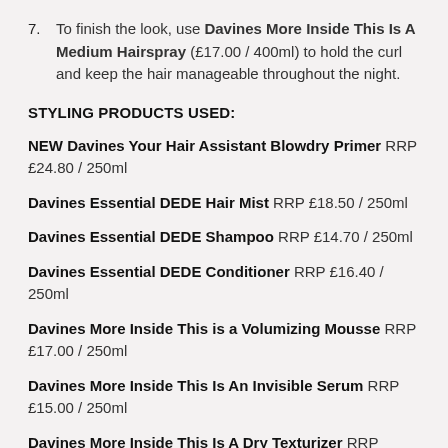7. To finish the look, use Davines More Inside This Is A Medium Hairspray (£17.00 / 400ml) to hold the curl and keep the hair manageable throughout the night.
STYLING PRODUCTS USED:
NEW Davines Your Hair Assistant Blowdry Primer RRP £24.80 / 250ml
Davines Essential DEDE Hair Mist RRP £18.50 / 250ml
Davines Essential DEDE Shampoo RRP £14.70 / 250ml
Davines Essential DEDE Conditioner RRP £16.40 / 250ml
Davines More Inside This is a Volumizing Mousse RRP £17.00 / 250ml
Davines More Inside This Is An Invisible Serum RRP £15.00 / 250ml
Davines More Inside This Is A Dry Texturizer RRP £19.60 /